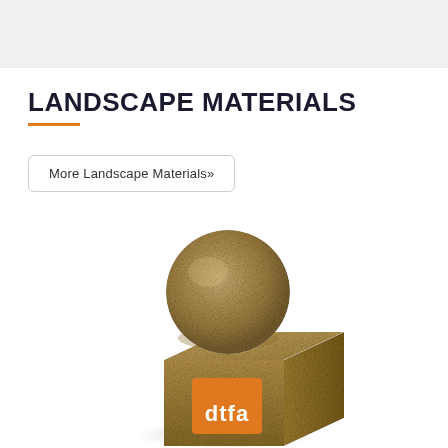LANDSCAPE MATERIALS
More Landscape Materials»
[Figure (illustration): 3D rendered sand/stone textured sphere sitting on top of a cube. The cube has an orange square label with white text 'dtfa'. Cast shadow visible beneath the cube on a white/light surface.]